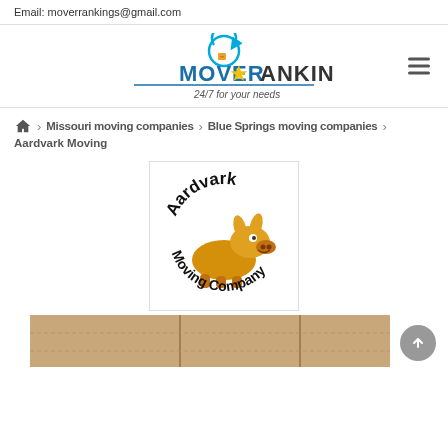Email: moverrankings@gmail.com
[Figure (logo): MoverRankings logo with circular arrow icon and boxes, text reads MOVER RANKINGS 24/7 for your needs]
🏠 > Missouri moving companies > Blue Springs moving companies > Aardvark Moving
[Figure (logo): Aardvark Moving Company logo showing a cartoon aardvark with text 'Aardvark Moving Company']
[Figure (photo): Partial image of cardboard moving boxes at bottom of page]